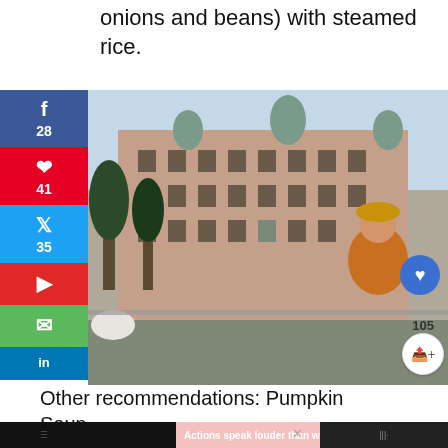onions and beans) with steamed rice.
[Figure (photo): A woman wearing an orange turtleneck and mustard beret smiling in front of a large ornate historic building, possibly in Eastern Europe or Central Asia. Social media sharing sidebar visible on left with buttons for Facebook (28), Pinterest (41), Twitter (35), Flipboard, Email, LinkedIn.]
Other recommendations: Pumpkin Soup
[Figure (screenshot): Advertisement banner at bottom: dark background with pink/salmon graphic and person, text reads 'Actions speak louder than words.']